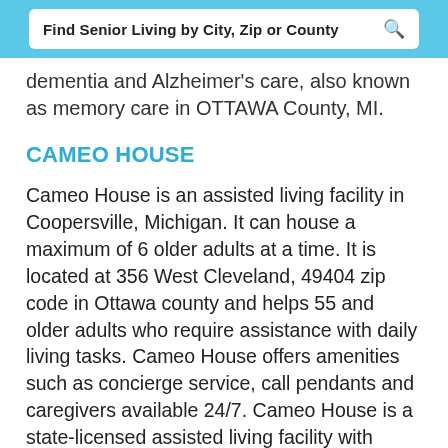Find Senior Living by City, Zip or County
dementia and Alzheimer's care, also known as memory care in OTTAWA County, MI.
CAMEO HOUSE
Cameo House is an assisted living facility in Coopersville, Michigan. It can house a maximum of 6 older adults at a time. It is located at 356 West Cleveland, 49404 zip code in Ottawa county and helps 55 and older adults who require assistance with daily living tasks. Cameo House offers amenities such as concierge service, call pendants and caregivers available 24/7. Cameo House is a state-licensed assisted living facility with License # AF700082027.